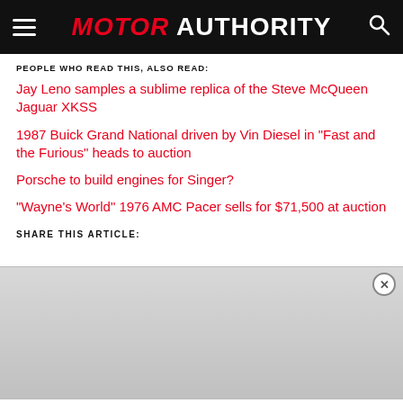MOTOR AUTHORITY
PEOPLE WHO READ THIS, ALSO READ:
Jay Leno samples a sublime replica of the Steve McQueen Jaguar XKSS
1987 Buick Grand National driven by Vin Diesel in "Fast and the Furious" heads to auction
Porsche to build engines for Singer?
"Wayne's World" 1976 AMC Pacer sells for $71,500 at auction
SHARE THIS ARTICLE:
[Figure (other): Advertisement/promotional content area with close button]